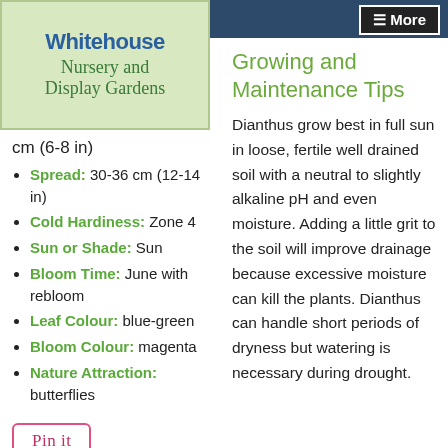[Figure (logo): Whitehouse Nursery and Display Gardens logo with light green background]
cm (6-8 in)
Spread: 30-36 cm (12-14 in)
Cold Hardiness: Zone 4
Sun or Shade: Sun
Bloom Time: June with rebloom
Leaf Colour: blue-green
Bloom Colour: magenta
Nature Attraction: butterflies
[Figure (other): Pin it button with red border]
Growing and Maintenance Tips
Dianthus grow best in full sun in loose, fertile well drained soil with a neutral to slightly alkaline pH and even moisture. Adding a little grit to the soil will improve drainage because excessive moisture can kill the plants. Dianthus can handle short periods of dryness but watering is necessary during drought.